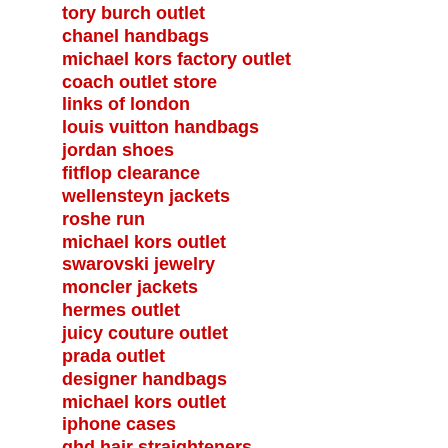tory burch outlet
chanel handbags
michael kors factory outlet
coach outlet store
links of london
louis vuitton handbags
jordan shoes
fitflop clearance
wellensteyn jackets
roshe run
michael kors outlet
swarovski jewelry
moncler jackets
hermes outlet
juicy couture outlet
prada outlet
designer handbags
michael kors outlet
iphone cases
ghd hair straighteners
longchamp handbags
michael kors handbags